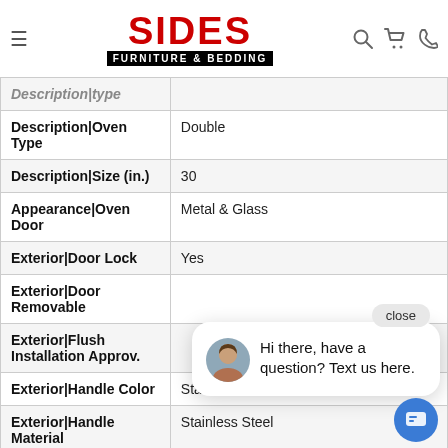Sides Furniture & Bedding
| Attribute | Value |
| --- | --- |
| Description|Oven Type | Double |
| Description|Size (in.) | 30 |
| Appearance|Oven Door | Metal & Glass |
| Exterior|Door Lock | Yes |
| Exterior|Door Removable |  |
| Exterior|Flush Installation Approv. |  |
| Exterior|Handle Color | Stainless Steel |
| Exterior|Handle Material | Stainless Steel |
| Exterior|Installable | No |